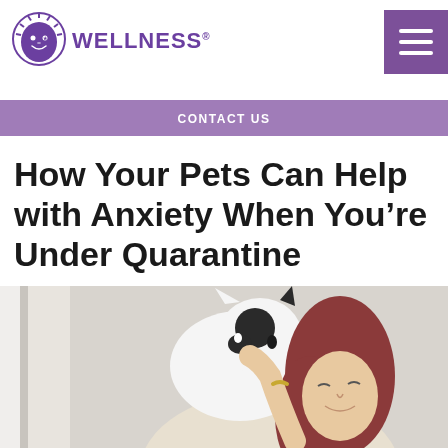[Figure (logo): Wellness pet food brand logo — circular sun/moon face icon above the word WELLNESS in purple]
CONTACT US
How Your Pets Can Help with Anxiety When You’re Under Quarantine
[Figure (photo): A woman with long reddish hair holding and nuzzling a black-and-white cat near a window]